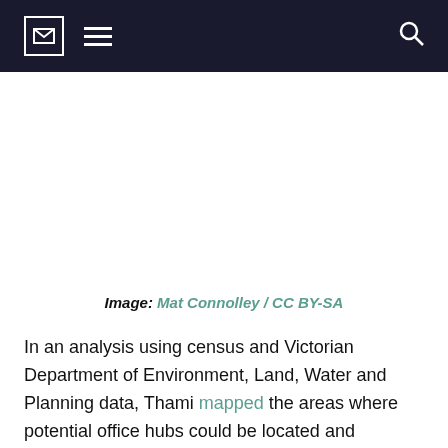[navigation bar with envelope icon, menu icon, search icon]
[Figure (photo): Image placeholder area (white space where a photo would appear)]
Image: Mat Connolley / CC BY-SA
In an analysis using census and Victorian Department of Environment, Land, Water and Planning data, Thami mapped the areas where potential office hubs could be located and identified homes in a 5-minute walking distance from those places. He found that up to 97 per